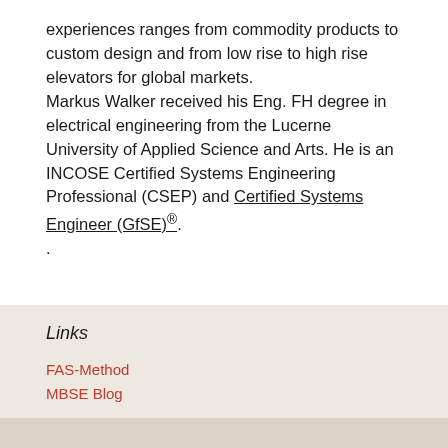experiences ranges from commodity products to custom design and from low rise to high rise elevators for global markets.
Markus Walker received his Eng. FH degree in electrical engineering from the Lucerne University of Applied Science and Arts. He is an INCOSE Certified Systems Engineering Professional (CSEP) and Certified Systems Engineer (GfSE)®.
Links
FAS-Method
MBSE Blog